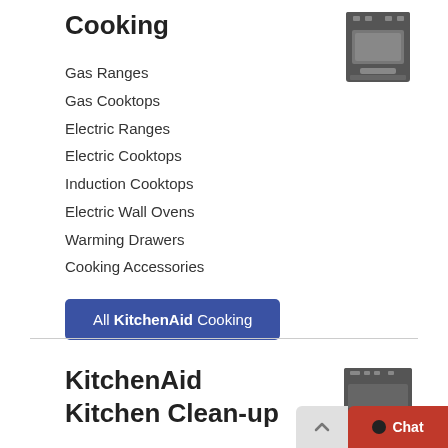Cooking
[Figure (illustration): Gray icon of a cooking range/oven appliance]
Gas Ranges
Gas Cooktops
Electric Ranges
Electric Cooktops
Induction Cooktops
Electric Wall Ovens
Warming Drawers
Cooking Accessories
All KitchenAid Cooking
KitchenAid Kitchen Clean-up
[Figure (illustration): Gray icon of a dishwasher appliance]
Built-in Dishwashers
Trash Compactors